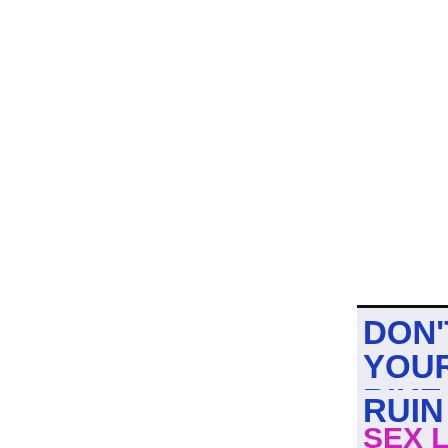[Figure (illustration): Partial book cover visible in the lower right portion of the page. White/light grey textured background with bold blue text reading 'DON'T LET YOUR BIKE SEAT RUIN YOUR' and magenta/pink text beginning 'SEX LIFE' at the bottom. A black bicycle saddle illustration appears on the right side of the text.]